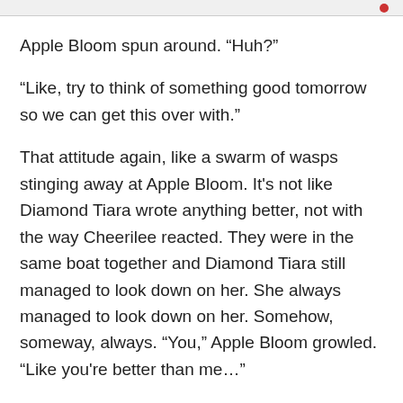Apple Bloom spun around. "Huh?"
"Like, try to think of something good tomorrow so we can get this over with."
That attitude again, like a swarm of wasps stinging away at Apple Bloom. It's not like Diamond Tiara wrote anything better, not with the way Cheerilee reacted. They were in the same boat together and Diamond Tiara still managed to look down on her. She always managed to look down on her. Somehow, someway, always. "You," Apple Bloom growled. "Like you're better than me…"
"By-ye." Diamond Tiara stretching her back with her rump directed insultingly at Apple Bloom. Another